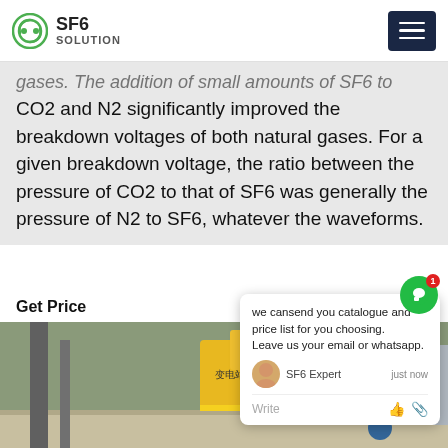SF6 SOLUTION
gases. The addition of small amounts of SF6 to CO2 and N2 significantly improved the breakdown voltages of both natural gases. For a given breakdown voltage, the ratio between the pressure of CO2 to that of SF6 was generally the pressure of N2 to SF6, whatever the waveforms.
Get Price
[Figure (photo): Industrial workers in blue hard hats and safety gear working near large yellow crane machinery and grey electrical equipment at an outdoor substation or power facility. Chinese text visible on equipment.]